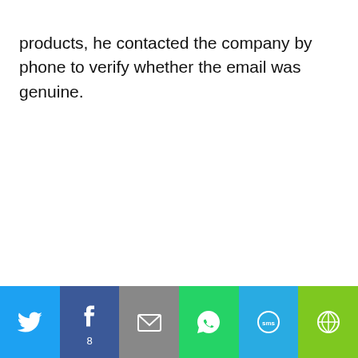products, he contacted the company by phone to verify whether the email was genuine.
[Figure (infographic): Social sharing bar with Twitter, Facebook, Email, WhatsApp, SMS, and More buttons. Facebook shows count of 8.]